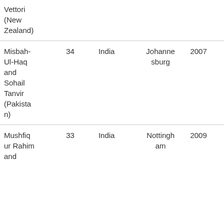| Vettori (New Zealand) |  |  |  |  |
| Misbah-Ul-Haq and Sohail Tanvir (Pakistan) | 34 | India | Johannesburg | 2007 |
| Mushfiqur Rahim and | 33 | India | Nottingham | 2009 |